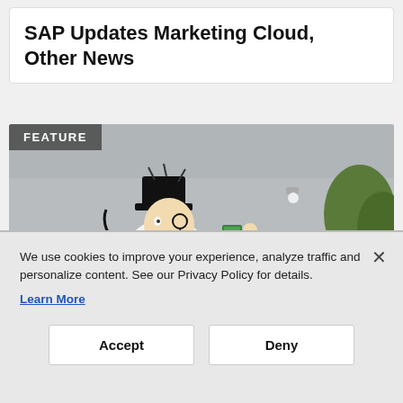SAP Updates Marketing Cloud, Other News
[Figure (photo): A building wall featuring a street art mural of the Monopoly Man character (Mr. Monopoly) running, signed 'ALEC'. A blue parking meter and a grey utility panel are visible on the wall. Trees and a shipping container are in the background. A 'FEATURE' label overlay appears in the top-left corner of the image.]
We use cookies to improve your experience, analyze traffic and personalize content. See our Privacy Policy for details.
Learn More
Accept
Deny